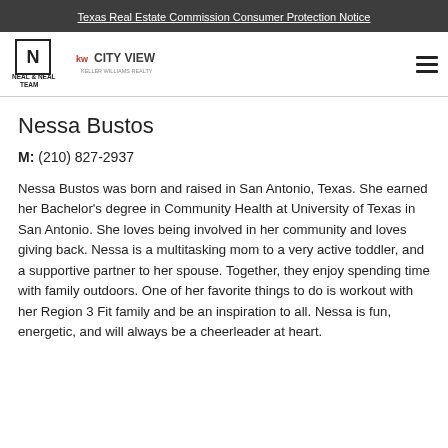Texas Real Estate Commission Consumer Protection Notice
[Figure (logo): Neal & Neal Team logo and KW City View Keller Williams Realty logo]
Nessa Bustos
M: (210) 827-2937
Nessa Bustos was born and raised in San Antonio, Texas. She earned her Bachelor's degree in Community Health at University of Texas in San Antonio. She loves being involved in her community and loves giving back. Nessa is a multitasking mom to a very active toddler, and a supportive partner to her spouse. Together, they enjoy spending time with family outdoors. One of her favorite things to do is workout with her Region 3 Fit family and be an inspiration to all. Nessa is fun, energetic, and will always be a cheerleader at heart.